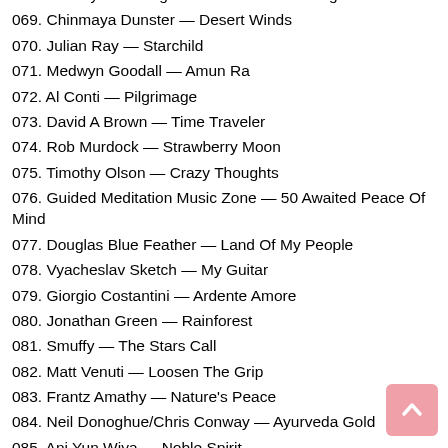068. Barclay — Loving You — Alexander Metzger Mix
069. Chinmaya Dunster — Desert Winds
070. Julian Ray — Starchild
071. Medwyn Goodall — Amun Ra
072. Al Conti — Pilgrimage
073. David A Brown — Time Traveler
074. Rob Murdock — Strawberry Moon
075. Timothy Olson — Crazy Thoughts
076. Guided Meditation Music Zone — 50 Awaited Peace Of Mind
077. Douglas Blue Feather — Land Of My People
078. Vyacheslav Sketch — My Guitar
079. Giorgio Costantini — Ardente Amore
080. Jonathan Green — Rainforest
081. Smuffy — The Stars Call
082. Matt Venuti — Loosen The Grip
083. Frantz Amathy — Nature's Peace
084. Neil Donoghue/Chris Conway — Ayurveda Gold
085. Ani Yun Wiya — Noble Spirit
086. Saint Of Sin — Obession In The Heart
087. David Lanz — The Last Days Of Summer